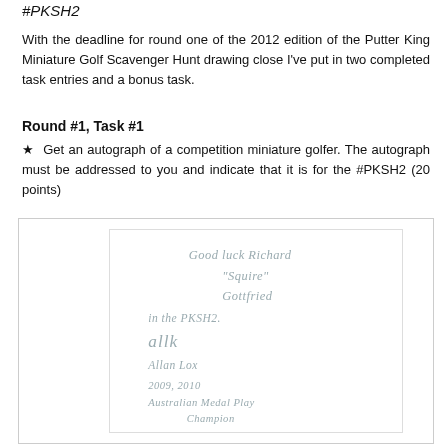#PKSH2
With the deadline for round one of the 2012 edition of the Putter King Miniature Golf Scavenger Hunt drawing close I've put in two completed task entries and a bonus task.
Round #1, Task #1
★ Get an autograph of a competition miniature golfer. The autograph must be addressed to you and indicate that it is for the #PKSH2 (20 points)
[Figure (photo): A handwritten autograph note reading: Good luck Richard "Squire" Gottfried in the PKSH2. [signature] Allan Lox 2009, 2010 Australian Medal Play Champion]